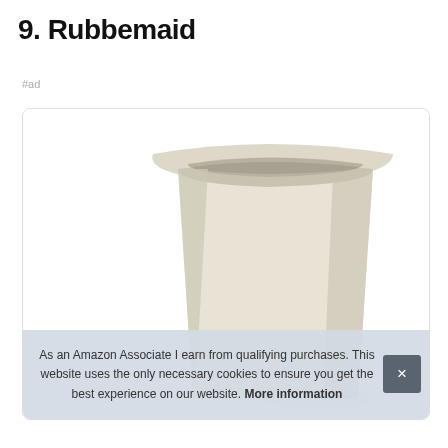9. Rubbemaid
#ad
[Figure (photo): A beige/cream colored rectangular Rubbermaid waste bin or container, viewed from a slight angle showing the open top, with a smooth plastic body. The product is displayed against a white background inside a rounded-corner product card.]
As an Amazon Associate I earn from qualifying purchases. This website uses the only necessary cookies to ensure you get the best experience on our website. More information